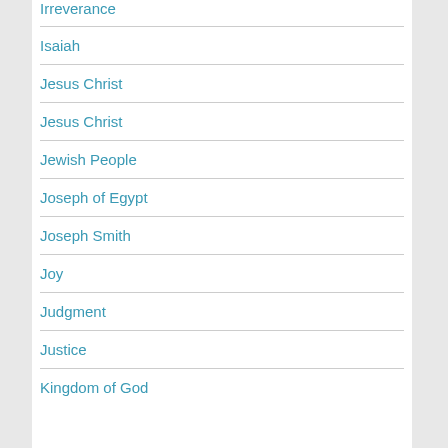Irreverance
Isaiah
Jesus Christ
Jesus Christ
Jewish People
Joseph of Egypt
Joseph Smith
Joy
Judgment
Justice
Kingdom of God